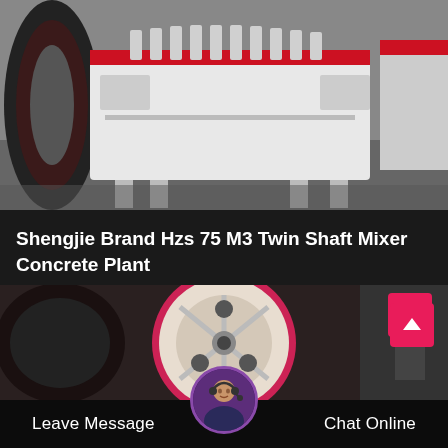[Figure (photo): Industrial concrete batching plant / twin shaft mixer machine, white and gray colored heavy equipment on factory floor]
Shengjie Brand Hzs 75 M3 Twin Shaft Mixer Concrete Plant
Hzs concrete batching plant twin shaft mixer concrete shengjie hzs 120 concrete mixing plant design gbceconcrete batching plant price listin hzs90…
[Figure (photo): Close-up of circular mixer drum component with holes, red/pink ring, dark background with machinery parts]
Leave Message
Chat Online